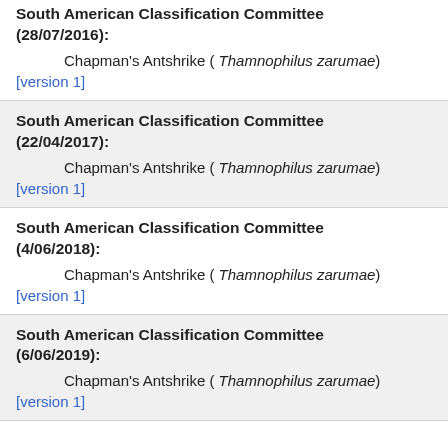South American Classification Committee (28/07/2016):
Chapman's Antshrike ( Thamnophilus zarumae)
[version 1]
South American Classification Committee (22/04/2017):
Chapman's Antshrike ( Thamnophilus zarumae)
[version 1]
South American Classification Committee (4/06/2018):
Chapman's Antshrike ( Thamnophilus zarumae)
[version 1]
South American Classification Committee (6/06/2019):
Chapman's Antshrike ( Thamnophilus zarumae)
[version 1]